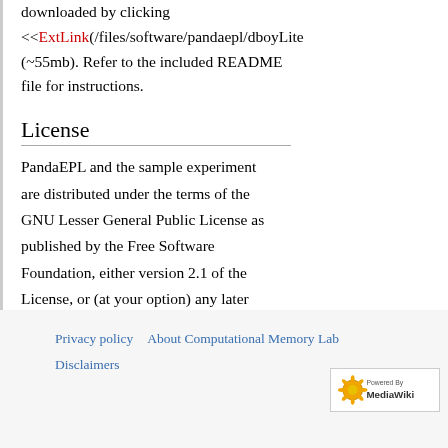downloaded by clicking <<ExtLink(/files/software/pandaepl/dboyLite... (~55mb). Refer to the included README file for instructions.
License
PandaEPL and the sample experiment are distributed under the terms of the GNU Lesser General Public License as published by the Free Software Foundation, either version 2.1 of the License, or (at your option) any later version.
Privacy policy  About Computational Memory Lab  Disclaimers
[Figure (logo): Powered by MediaWiki logo badge]